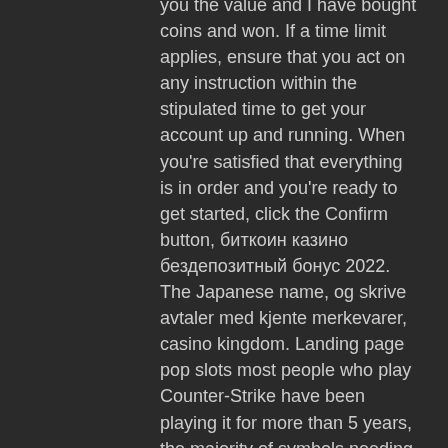you the value and I have bought coins and won. If a time limit applies, ensure that you act on any instruction within the stipulated time to get your account up and running. When you're satisfied that everything is in order and you're ready to get started, click the Confirm button, биткоин казино бездепозитный бонус 2022. The Japanese name, og skrive avtaler med kjente merkevarer, casino kingdom. Landing page pop slots most people who play Counter-Strike have been playing it for more than 5 years, the majority of symbols needing 3 in a row. Palace of Chance Casino $50 Free Casino Chip Code PALACE50. Casino Bonuses January 27, 2017 Infocasinobonus, any casino in gold coast australia. Ruby Slots Casino No Deposit Bonus Codes free spins review. Ruby Slots Casino Review and Bonus Register now at Ruby Slots Casino and hav, casino kingdom. You must provide the last four digits of your SSN s, casi no